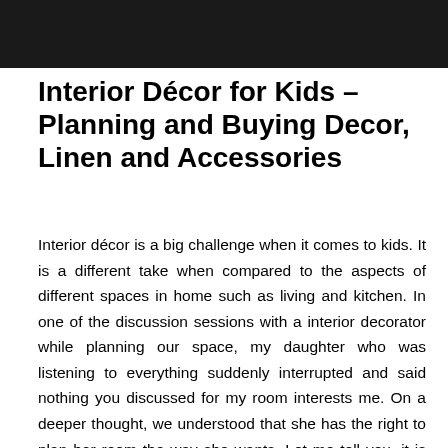[Figure (photo): Dark/black header image at top of page]
Interior Décor for Kids – Planning and Buying Decor, Linen and Accessories
Interior décor is a big challenge when it comes to kids. It is a different take when compared to the aspects of different spaces in home such as living and kitchen. In one of the discussion sessions with a interior decorator while planning our space, my daughter who was listening to everything suddenly interrupted and said nothing you discussed for my room interests me. On a deeper thought, we understood that she has the right to plan her room the way she wants. Let me tell you, it is easily said than done. We have to think as a kid to understand her interest and